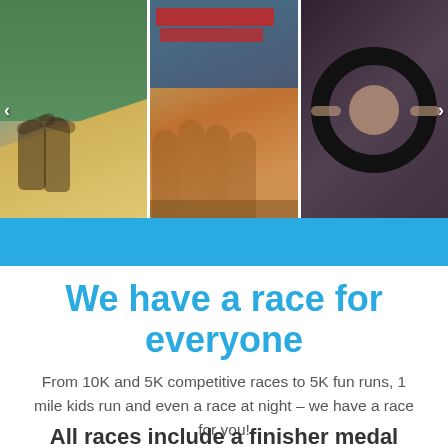[Figure (photo): Three-panel photo carousel showing participants at a mud run event. Left photo: two muddy participants posing with arms raised on a sandy slope. Center photo: group of four participants covered in mud posing together with race banners behind them. Right photo: participant crawling through a tire obstacle.]
We have a race for everyone
From 10K and 5K competitive races to 5K fun runs, 1 mile kids run and even a race at night – we have a race for you!
All races include a finisher medal